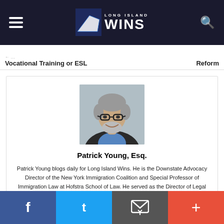Long Island Wins
Vocational Training or ESL
Reform
[Figure (photo): Portrait photo of Patrick Young, Esq. — middle-aged man with graying hair, beard, glasses, wearing a dark jacket and blue shirt]
Patrick Young, Esq.
Patrick Young blogs daily for Long Island Wins. He is the Downstate Advocacy Director of the New York Immigration Coalition and Special Professor of Immigration Law at Hofstra School of Law. He served as the Director of Legal Services and Program at Central American